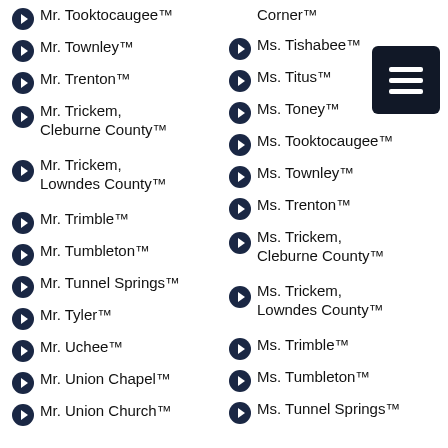Mr. Tooktocaugee™
Corner™
Mr. Townley™
Ms. Tishabee™
Mr. Trenton™
Ms. Titus™
Mr. Trickem, Cleburne County™
Ms. Toney™
Ms. Tooktocaugee™
Mr. Trickem, Lowndes County™
Ms. Townley™
Ms. Trenton™
Mr. Trimble™
Ms. Trickem, Cleburne County™
Mr. Tumbleton™
Ms. Trickem, Lowndes County™
Mr. Tunnel Springs™
Mr. Tyler™
Ms. Trimble™
Mr. Uchee™
Ms. Tumbleton™
Mr. Union Chapel™
Ms. Tunnel Springs™
Mr. Union Church™